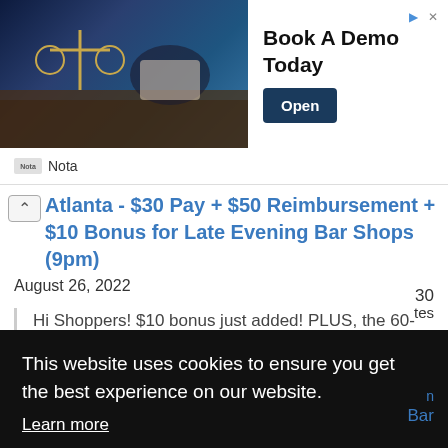[Figure (photo): Advertisement banner with legal scales photo on left, 'Book A Demo Today' text and Open button on right, with Nota branding below]
Atlanta - $30 Pay + $50 Reimbursement + $10 Bonus for Late Evening Bar Shops (9pm)
August 26, 2022
Hi Shoppers! $10 bonus just added! PLUS, the 60-day rotation is reduced to 30! Act now, as
This website uses cookies to ensure you get the best experience on our website.
Learn more
Got it!